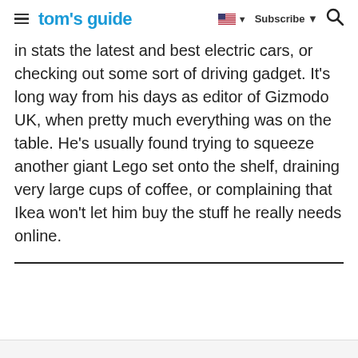tom's guide — Subscribe
in stats the latest and best electric cars, or checking out some sort of driving gadget. It's long way from his days as editor of Gizmodo UK, when pretty much everything was on the table. He's usually found trying to squeeze another giant Lego set onto the shelf, draining very large cups of coffee, or complaining that Ikea won't let him buy the stuff he really needs online.